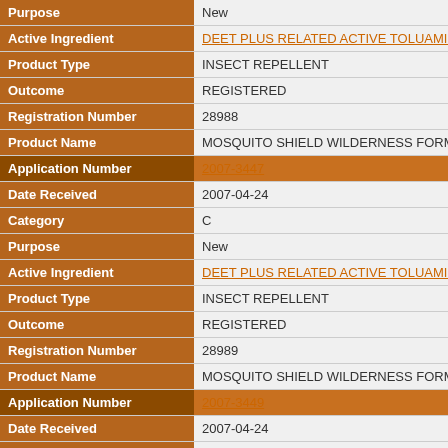| Field | Value |
| --- | --- |
| Purpose | New |
| Active Ingredient | DEET PLUS RELATED ACTIVE TOLUAMIDES |
| Product Type | INSECT REPELLENT |
| Outcome | REGISTERED |
| Registration Number | 28988 |
| Product Name | MOSQUITO SHIELD WILDERNESS FORMULA |
| Application Number | 2007-3447 |
| Date Received | 2007-04-24 |
| Category | C |
| Purpose | New |
| Active Ingredient | DEET PLUS RELATED ACTIVE TOLUAMIDES |
| Product Type | INSECT REPELLENT |
| Outcome | REGISTERED |
| Registration Number | 28989 |
| Product Name | MOSQUITO SHIELD WILDERNESS FORMULA |
| Application Number | 2007-3449 |
| Date Received | 2007-04-24 |
| Category | C |
| Purpose | New |
| Active Ingredient | DEET PLUS RELATED ACTIVE TOLUAMIDES |
| Product Type | INSECT REPELLENT |
| Outcome | REGISTERED |